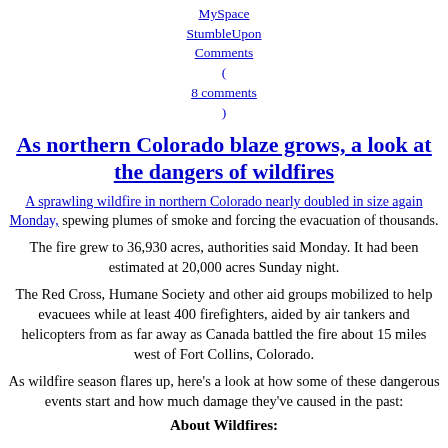MySpace
StumbleUpon
Comments (8 comments)
As northern Colorado blaze grows, a look at the dangers of wildfires
A sprawling wildfire in northern Colorado nearly doubled in size again Monday, spewing plumes of smoke and forcing the evacuation of thousands.
The fire grew to 36,930 acres, authorities said Monday. It had been estimated at 20,000 acres Sunday night.
The Red Cross, Humane Society and other aid groups mobilized to help evacuees while at least 400 firefighters, aided by air tankers and helicopters from as far away as Canada battled the fire about 15 miles west of Fort Collins, Colorado.
As wildfire season flares up, here's a look at how some of these dangerous events start and how much damage they've caused in the past:
About Wildfires: